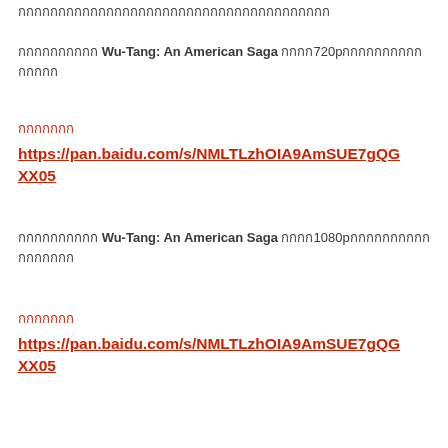กกกกกกกกกกกกกกกกกกกกกกกกกกกกกกกกกกกกกกก
กกกกกกกกกก Wu-Tang: An American Saga กกกก720pกกกกกกกกกก กกกกก
กกกกกกก
https://pan.baidu.com/s/NMLTLzhOIA9AmSUE7gQGXX05
กกกกกกกกกก Wu-Tang: An American Saga กกกก1080pกกกกกกกกกก กกกกกกก
กกกกกกก
https://pan.baidu.com/s/NMLTLzhOIA9AmSUE7gQGXX05